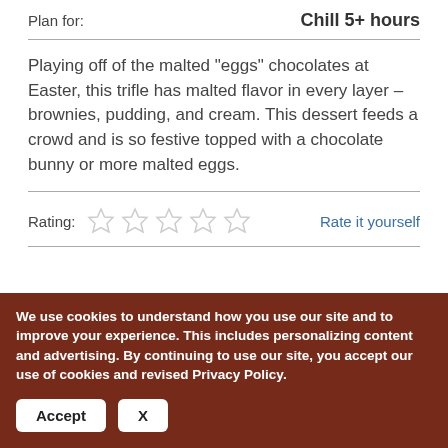Plan for:    Chill 5+ hours
Playing off of the malted "eggs" chocolates at Easter, this trifle has malted flavor in every layer – brownies, pudding, and cream. This dessert feeds a crowd and is so festive topped with a chocolate bunny or more malted eggs.
Rating:   ☆☆☆☆☆   Rate it yourself
[Figure (photo): Blogger badges and Imperial Sugar product image at bottom of page]
We use cookies to understand how you use our site and to improve your experience. This includes personalizing content and advertising. By continuing to use our site, you accept our use of cookies and revised Privacy Policy.